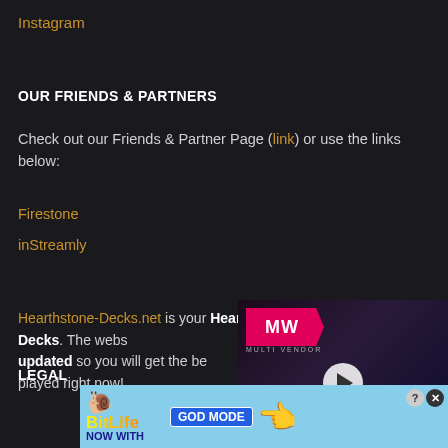Instagram
OUR FRIENDS & PARTNERS
Check out our Friends & Partner Page (link) or use the links below:
Firestone
inStreamly
Hearthstone-Decks.net is your #1 website for Hearthstone Decks. The website is constantly updated so you will get the best decks being played right now!
[Figure (screenshot): Video advertisement for 'Alone in the Dark Remake' with MWW logo, play button overlay, and red title text on dark background]
[Figure (screenshot): BitLife advertisement with 'NOW WITH GOD MODE' text, snail logo, yellow hand graphic on light blue background]
LEGAL